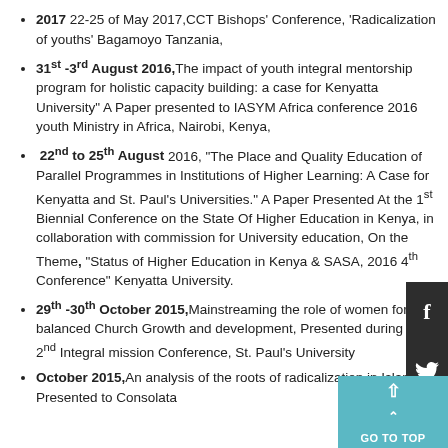2017 22-25 of May 2017,CCT Bishops' Conference, 'Radicalization of youths' Bagamoyo Tanzania,
31st -3rd August 2016,The impact of youth integral mentorship program for holistic capacity building: a case for Kenyatta University" A Paper presented to IASYM Africa conference 2016 youth Ministry in Africa, Nairobi, Kenya,
22nd to 25th August 2016, "The Place and Quality Education of Parallel Programmes in Institutions of Higher Learning: A Case for Kenyatta and St. Paul's Universities." A Paper Presented At the 1st Biennial Conference on the State Of Higher Education in Kenya, in collaboration with commission for University education, On the Theme, "Status of Higher Education in Kenya & SASA, 2016 4th Conference" Kenyatta University.
29th -30th October 2015,Mainstreaming the role of women for balanced Church Growth and development, Presented during the 2nd Integral mission Conference, St. Paul's University
October 2015,An analysis of the roots of radicalization in Islam. Presented to Consolata